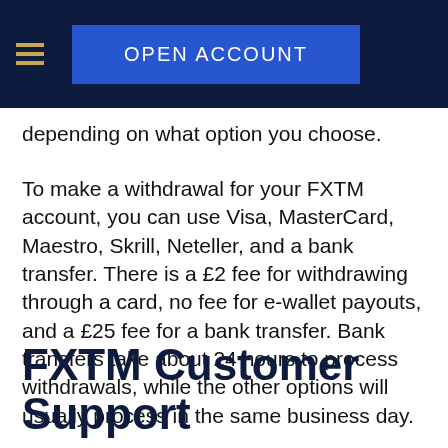OPEN ACCOUNT
depending on what option you choose.
To make a withdrawal for your FXTM account, you can use Visa, MasterCard, Maestro, Skrill, Neteller, and a bank transfer. There is a £2 fee for withdrawing through a card, no fee for e-wallet payouts, and a £25 fee for a bank transfer. Bank transfers take about 24 hours to process withdrawals, while the other options will usually process in the same business day.
FXTM Customer Support